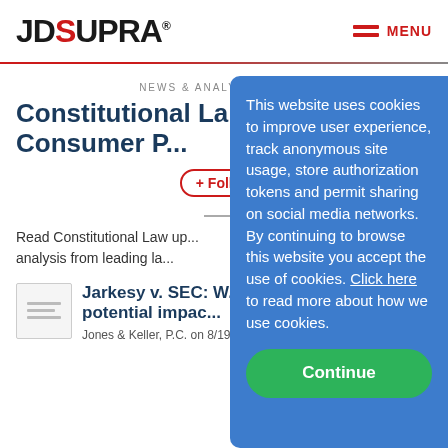JDSUPRA® MENU
NEWS & ANALYSIS AS C...
Constitutional La... Consumer P...
+ Follow
Read Constitutional Law up... analysis from leading la...
[Figure (screenshot): Article thumbnail placeholder with horizontal lines]
Jarkesy v. SEC: W... potential impac...
Jones & Keller, P.C. on 8/19/2022
This website uses cookies to improve user experience, track anonymous site usage, store authorization tokens and permit sharing on social media networks. By continuing to browse this website you accept the use of cookies. Click here to read more about how we use cookies.
Continue